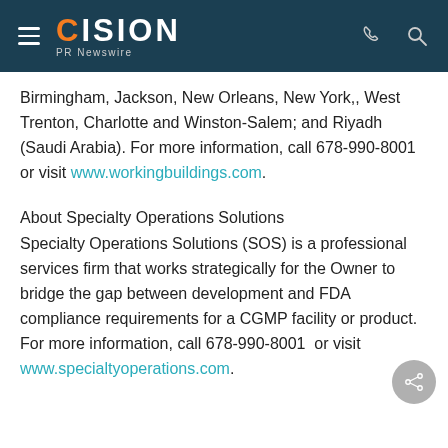CISION PR Newswire
Birmingham, Jackson, New Orleans, New York,, West Trenton, Charlotte and Winston-Salem; and Riyadh (Saudi Arabia). For more information, call 678-990-8001 or visit www.workingbuildings.com.
About Specialty Operations Solutions
Specialty Operations Solutions (SOS) is a professional services firm that works strategically for the Owner to bridge the gap between development and FDA compliance requirements for a CGMP facility or product. For more information, call 678-990-8001  or visit www.specialtyoperations.com.